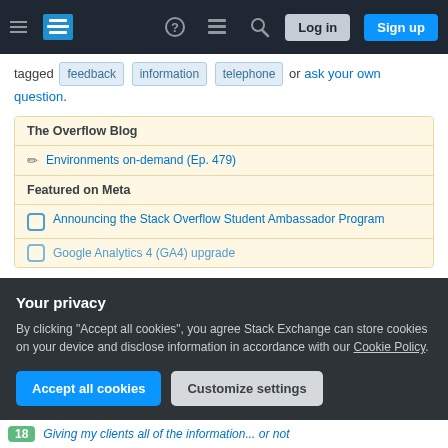Stack Overflow navigation bar with Log in and Sign up buttons
tagged feedback information telephone or ask your own question.
The Overflow Blog
Environments on-demand (Ep. 479)
Featured on Meta
Announcing the Stack Overflow Student Ambassador Program
Google Analytics 4 (GA4) upgrade
Your privacy
By clicking "Accept all cookies", you agree Stack Exchange can store cookies on your device and disclose information in accordance with our Cookie Policy.
Accept all cookies   Customize settings
18  Giving my clients all of the information... or not